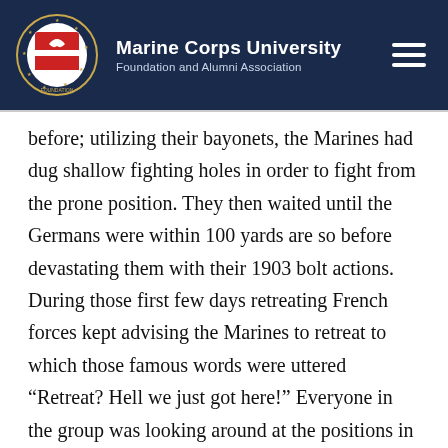Marine Corps University Foundation and Alumni Association
before; utilizing their bayonets, the Marines had dug shallow fighting holes in order to fight from the prone position. They then waited until the Germans were within 100 yards are so before devastating them with their 1903 bolt actions. During those first few days retreating French forces kept advising the Marines to retreat to which those famous words were uttered “Retreat? Hell we just got here!” Everyone in the group was looking around at the positions in the rocks. One Marine pointing out how